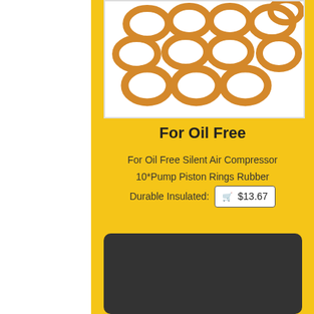[Figure (photo): Copper/bronze colored O-rings/washers arranged in a grid on a white background]
For Oil Free
For Oil Free Silent Air Compressor
10*Pump Piston Rings Rubber
Durable Insulated: $13.67
[Figure (photo): Air compressor product image on dark background with text 1100W 110V in yellow]